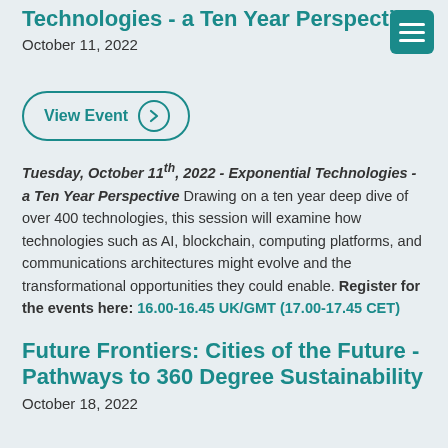Technologies - a Ten Year Perspective
October 11, 2022
[Figure (other): Menu hamburger icon button]
[Figure (other): View Event button with arrow circle]
Tuesday, October 11th, 2022 - Exponential Technologies - a Ten Year Perspective Drawing on a ten year deep dive of over 400 technologies, this session will examine how technologies such as AI, blockchain, computing platforms, and communications architectures might evolve and the transformational opportunities they could enable. Register for the events here: 16.00-16.45 UK/GMT (17.00-17.45 CET)
Future Frontiers: Cities of the Future - Pathways to 360 Degree Sustainability
October 18, 2022